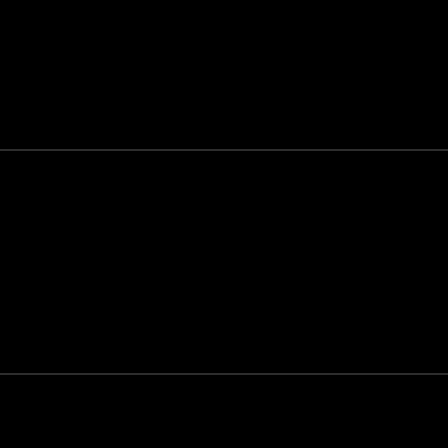[Figure (photo): Album cover: 2nd II None, showing performers on fire escape structure with green tones]
Artist: 2nd II None
Title: 2nd II N...
Category: ...
Record Lab...
Year: 1991
City: Comp...
State: Calif...
Area Code...
[Figure (photo): Album cover: Nemesis - Munchin For Your Bass, group photo in front of speaker stacks]
Artist: Nem...
Title: Munc...
Category: ...
Record Lab...
Year: 1991
City: Dallas...
State: Texa...
[Figure (photo): Album cover: Poor Righteous Teachers - Pure Poverty, three men in portrait]
Artist: Poo...
Title: Pure ...
Category: ...
Record Lab...
Year: 1991
City: Trento...
State: New...
Area Code...